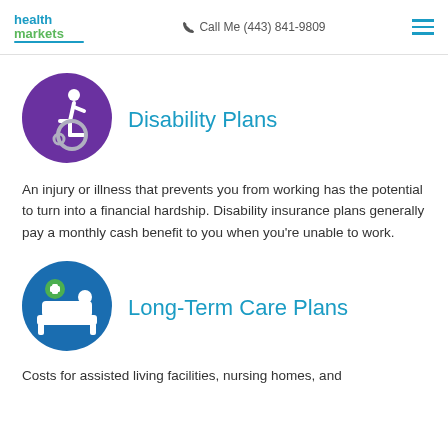health markets | Call Me (443) 841-9809
[Figure (illustration): Purple circle with wheelchair accessibility icon (person in wheelchair)]
Disability Plans
An injury or illness that prevents you from working has the potential to turn into a financial hardship. Disability insurance plans generally pay a monthly cash benefit to you when you're unable to work.
[Figure (illustration): Blue circle with hospital bed and green plus sign icon]
Long-Term Care Plans
Costs for assisted living facilities, nursing homes, and